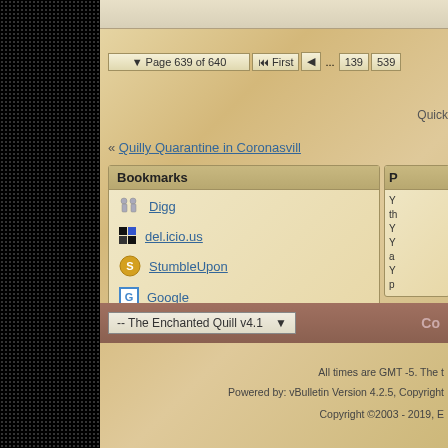Page 639 of 640  First  ...  139  539
Quick
« Quilly Quarantine in Coronasvill
Bookmarks
Digg
del.icio.us
StumbleUpon
Google
P...
Y... th... Y... Y... a... Y... p...
-- The Enchanted Quill v4.1
Co
All times are GMT -5. The t
Powered by: vBulletin Version 4.2.5, Copyright
Copyright ©2003 - 2019, E